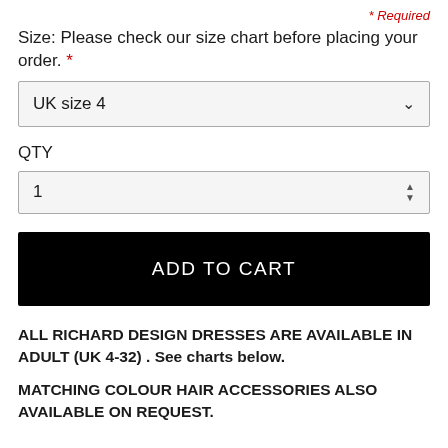* Required
Size: Please check our size chart before placing your order. *
UK size 4
QTY
1
ADD TO CART
ALL RICHARD DESIGN DRESSES ARE AVAILABLE IN ADULT (UK 4-32) . See charts below.
MATCHING COLOUR HAIR ACCESSORIES ALSO AVAILABLE ON REQUEST.